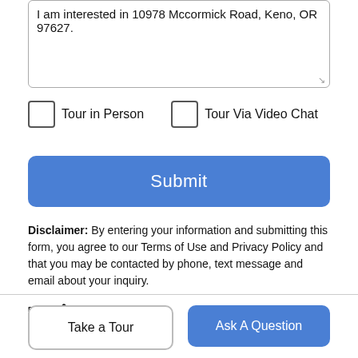I am interested in 10978 Mccormick Road, Keno, OR 97627.
Tour in Person
Tour Via Video Chat
Submit
Disclaimer: By entering your information and submitting this form, you agree to our Terms of Use and Privacy Policy and that you may be contacted by phone, text message and email about your inquiry.
[Figure (logo): BROOK real estate logo with house icon]
Take a Tour
Ask A Question